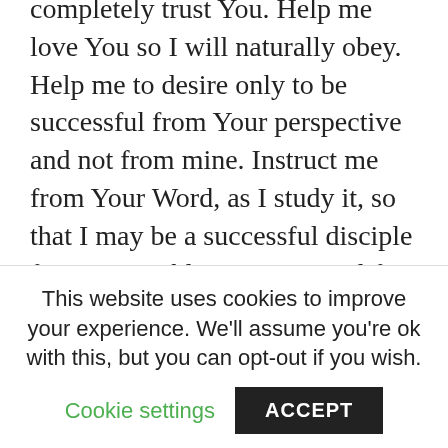completely trust You. Help me love You so I will naturally obey. Help me to desire only to be successful from Your perspective and not from mine. Instruct me from Your Word, as I study it, so that I may be a successful disciple for You. Enable me to exemplify You in all that I do. I want to walk in Your footsteps, Lord. Help me to be willing to share with others what I have been given. Teach me to use my time, my talents, my gifts, and my service to show Your glory.
Lord Jesus, You know the pain I harbor in my heart. Forgiveness seems so far from my grasp, yet I know that You have commanded me to forgive. Father, forgiving
This website uses cookies to improve your experience. We'll assume you're ok with this, but you can opt-out if you wish.